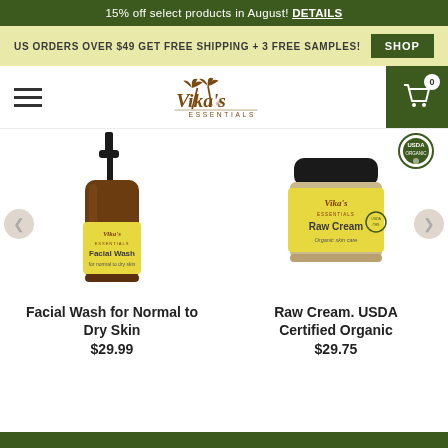15% off select products in August! DETAILS
US ORDERS OVER $49 GET FREE SHIPPING + 3 FREE SAMPLES! SHOP
[Figure (logo): Vika's Essentials logo with palm tree illustration]
[Figure (photo): Amber pump bottle of Vika's Essentials Facial Wash for Normal to Dry Skin with yellow label]
[Figure (photo): Glass jar of Vika's Essentials Raw Cream Organic Skin Care with yellow label and USDA Organic seal]
Facial Wash for Normal to Dry Skin
$29.99
Raw Cream. USDA Certified Organic
$29.75